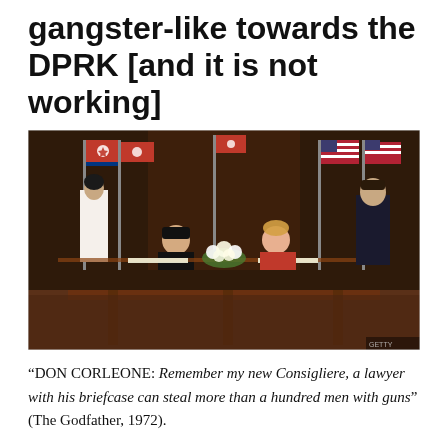gangster-like towards the DPRK [and it is not working]
[Figure (photo): Photo of two men seated at a long wooden table signing documents, with North Korean and American flags behind them, flanked by two standing officials.]
“DON CORLEONE: Remember my new Consigliere, a lawyer with his briefcase can steal more than a hundred men with guns” (The Godfather, 1972).